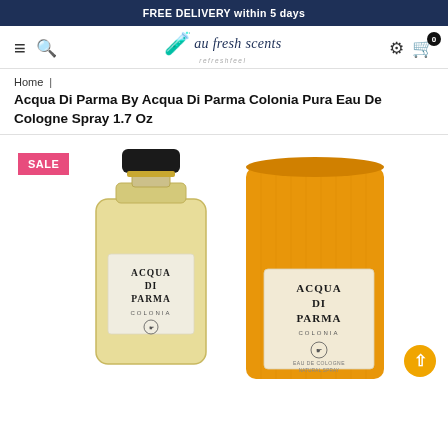FREE DELIVERY within 5 days
au fresh scents | refreshfeel
Home | Acqua Di Parma By Acqua Di Parma Colonia Pura Eau De Cologne Spray 1.7 Oz
[Figure (photo): Product photo showing Acqua Di Parma Colonia perfume bottle (glass, pale yellow liquid, black cap, label reading ACQUA DI PARMA COLONIA) next to its cylindrical yellow box with the same label reading ACQUA DI PARMA COLONIA EAU DE COLOGNE NATURAL SPRAY. A pink SALE badge is in the top-left corner.]